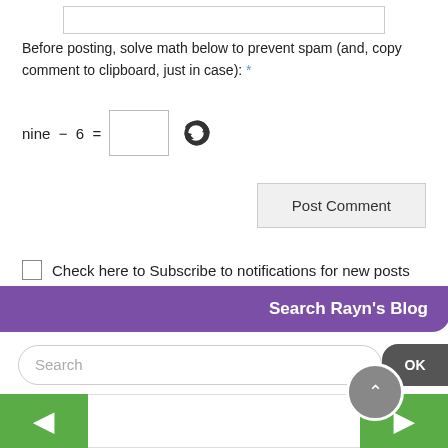[Figure (screenshot): Top portion showing a text input field (empty, white rectangle with border)]
Before posting, solve math below to prevent spam (and, copy comment to clipboard, just in case): *
nine − 6 = [input box] [refresh icon]
Post Comment
Check here to Subscribe to notifications for new posts
Search Rayn's Blog
Search
OK
◄ [nav left] [nav center] [nav right] ►